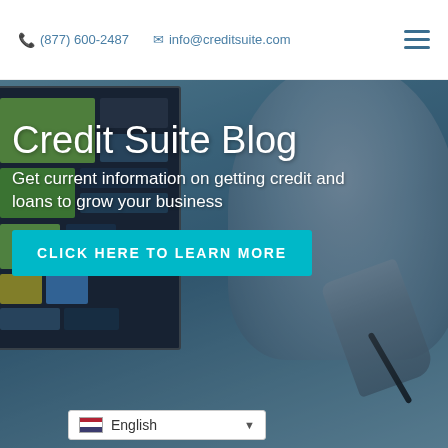📞 (877) 600-2487   ✉ info@creditsuite.com
[Figure (photo): Hero banner with background photo showing a person writing on a digital screen/tablet with green and colored UI panels visible. Dark overlay applied. Contains blog title, subtitle, and CTA button.]
Credit Suite Blog
Get current information on getting credit and loans to grow your business
CLICK HERE TO LEARN MORE
English